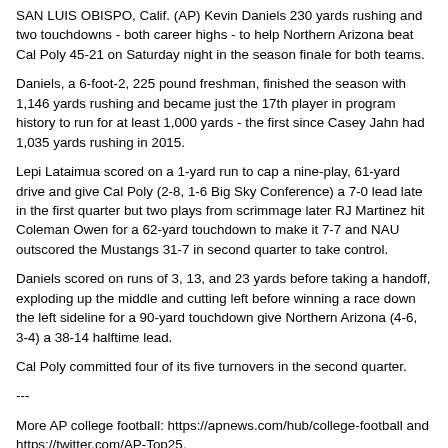SAN LUIS OBISPO, Calif. (AP) Kevin Daniels 230 yards rushing and two touchdowns - both career highs - to help Northern Arizona beat Cal Poly 45-21 on Saturday night in the season finale for both teams.
Daniels, a 6-foot-2, 225 pound freshman, finished the season with 1,146 yards rushing and became just the 17th player in program history to run for at least 1,000 yards - the first since Casey Jahn had 1,035 yards rushing in 2015.
Lepi Lataimua scored on a 1-yard run to cap a nine-play, 61-yard drive and give Cal Poly (2-8, 1-6 Big Sky Conference) a 7-0 lead late in the first quarter but two plays from scrimmage later RJ Martinez hit Coleman Owen for a 62-yard touchdown to make it 7-7 and NAU outscored the Mustangs 31-7 in second quarter to take control.
Daniels scored on runs of 3, 13, and 23 yards before taking a handoff, exploding up the middle and cutting left before winning a race down the left sideline for a 90-yard touchdown give Northern Arizona (4-6, 3-4) a 38-14 halftime lead.
Cal Poly committed four of its five turnovers in the second quarter.
---
More AP college football: https://apnews.com/hub/college-football and https://twitter.com/AP-Top25.